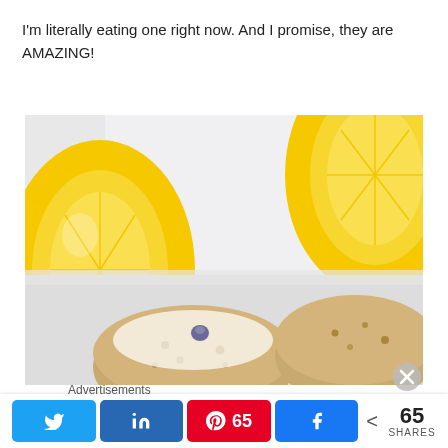I'm literally eating one right now. And I promise, they are AMAZING!
[Figure (photo): Close-up photo of lemon poppy seed muffins with white glaze, with two halved lemons in the background on a white surface.]
Advertisements
[Figure (photo): Partial advertisement banner with pink/red gradient and food image.]
< 65 SHARES with Twitter, LinkedIn, Pinterest (65), Facebook share buttons